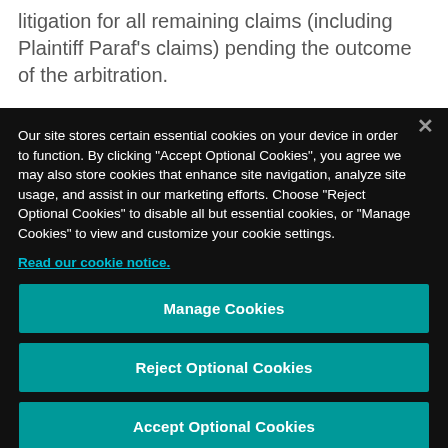litigation for all remaining claims (including Plaintiff Paraf’s claims) pending the outcome of the arbitration.
Our site stores certain essential cookies on your device in order to function. By clicking “Accept Optional Cookies”, you agree we may also store cookies that enhance site navigation, analyze site usage, and assist in our marketing efforts. Choose “Reject Optional Cookies” to disable all but essential cookies, or “Manage Cookies” to view and customize your cookie settings.
Read our cookie notice.
Manage Cookies
Reject Optional Cookies
Accept Optional Cookies